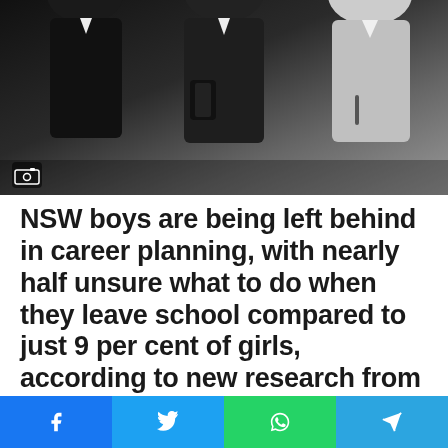[Figure (photo): Group of young people (students) standing together, one holding a phone, another holding a pen, against a blurred background.]
NSW boys are being left behind in career planning, with nearly half unsure what to do when they leave school compared to just 9 per cent of girls, according to new research from NSW Government.
The research, conducted in partnership with Year 13,